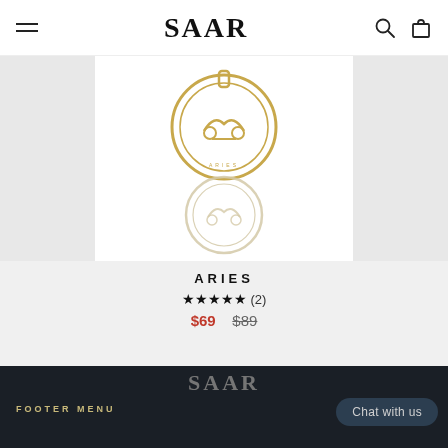SAAR
[Figure (photo): Gold Aries zodiac pendant jewelry — two circular medallions shown, one gold and one silver/white gold, with Aries ram symbol]
ARIES
★★★★★ (2)
$69  $89
[Figure (logo): SAAR logo in light gray on dark background]
FOOTER MENU
Chat with us